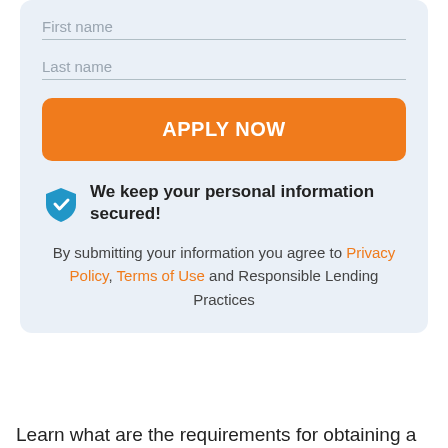First name
Last name
APPLY NOW
We keep your personal information secured!
By submitting your information you agree to Privacy Policy, Terms of Use and Responsible Lending Practices
Learn what are the requirements for obtaining a